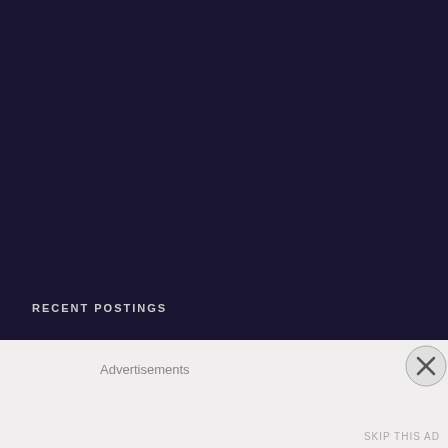Register
Log in
Entries feed
Comments feed
WordPress.com
Search ...
RECENT POSTINGS
Advertisements
SKIP THIS AD